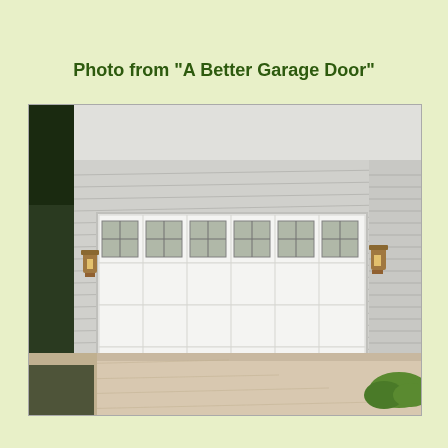Photo from "A Better Garage Door"
[Figure (photo): Exterior photo of a residential double-wide white garage door with small square windows in the top panel row, flanked by two wall-mounted bronze lantern light fixtures on gray horizontal siding, with a concrete driveway and greenery visible.]